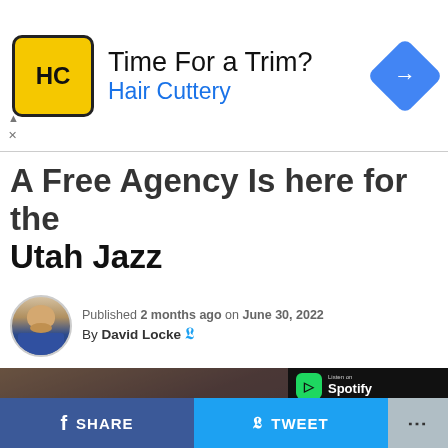[Figure (other): Hair Cuttery advertisement banner with HC logo, text 'Time For a Trim?' and 'Hair Cuttery', and a blue navigation arrow icon]
A Free Agency Is here for the Utah Jazz
Published 2 months ago on June 30, 2022
By David Locke
[Figure (photo): Basketball player in Utah Jazz jersey with hands on head in reaction, overlaid with FREE AGENCY DAY text and Locked On Jazz podcast branding with Spotify, Audacy, Google Podcasts, Apple Podcasts links]
SHARE   TWEET   ...